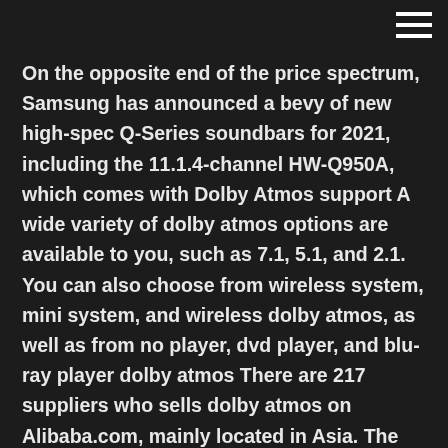On the opposite end of the price spectrum, Samsung has announced a bevy of new high-spec Q-Series soundbars for 2021, including the 11.1.4-channel HW-Q950A, which comes with Dolby Atmos support A wide variety of dolby atmos options are available to you, such as 7.1, 5.1, and 2.1. You can also choose from wireless system, mini system, and wireless dolby atmos, as well as from no player, dvd player, and blu-ray player dolby atmos There are 217 suppliers who sells dolby atmos on Alibaba.com, mainly located in Asia. The software provides the best images (Full HD 1080p/24 video output) and sounding (Dolby TrueHD – DTS-HD MA) fine quality on both of them standard Blu-rays and still renders Blu-rays. The problem can up-scale DVDs within order to 1080p. Now, attempted to put getting a fabulous 20 ...